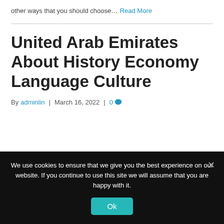other ways that you should choose…
Read More
United Arab Emirates About History Economy Language Culture
By adminlin | March 16, 2022 | 0
We use cookies to ensure that we give you the best experience on our website. If you continue to use this site we will assume that you are happy with it.